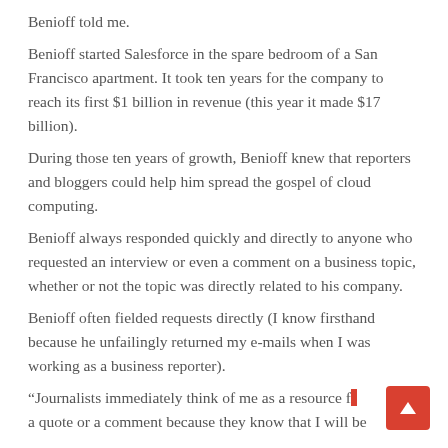Benioff told me.
Benioff started Salesforce in the spare bedroom of a San Francisco apartment. It took ten years for the company to reach its first $1 billion in revenue (this year it made $17 billion).
During those ten years of growth, Benioff knew that reporters and bloggers could help him spread the gospel of cloud computing.
Benioff always responded quickly and directly to anyone who requested an interview or even a comment on a business topic, whether or not the topic was directly related to his company.
Benioff often fielded requests directly (I know firsthand because he unfailingly returned my e-mails when I was working as a business reporter).
“Journalists immediately think of me as a resource for a quote or a comment because they know that I will be